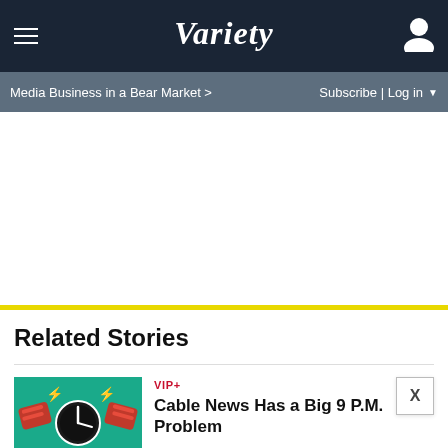Variety
Media Business in a Bear Market > Subscribe | Log in
Related Stories
VIP+
Cable News Has a Big 9 P.M. Problem